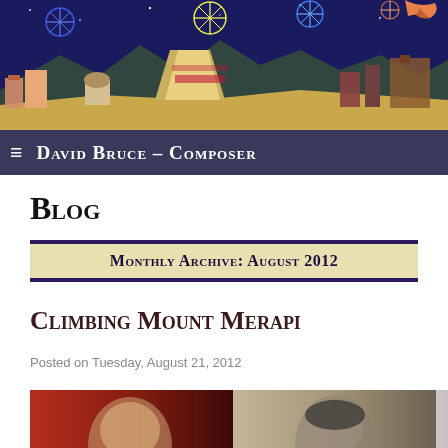[Figure (illustration): Colorful illustrated header banner showing a nighttime cityscape with fireworks, buildings, mountains and a bird against a dark sky with stars]
≡ David Bruce – Composer
Blog
Monthly Archive: August 2012
Climbing Mount Merapi
Posted on Tuesday, August 21, 2012
[Figure (photo): Black and white composite photo showing three men's faces side by side]